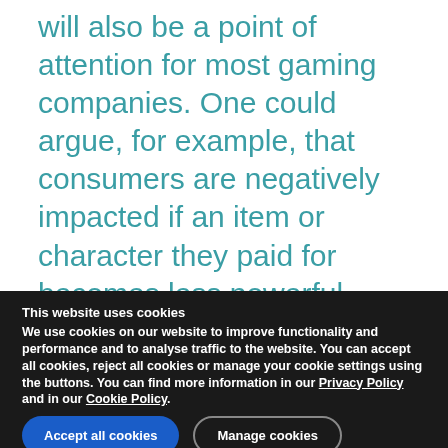will also be a point of attention for most gaming companies. One could argue, for example, that consumers are negatively impacted if an item or character they paid for becomes less powerful after an update.
In any case, as changes made to popular games are sometimes not well received within the community, this is a positive aspect for consumers.
This website uses cookies
We use cookies on our website to improve functionality and performance and to analyse traffic to the website. You can accept all cookies, reject all cookies or manage your cookie settings using the buttons. You can find more information in our Privacy Policy and in our Cookie Policy.